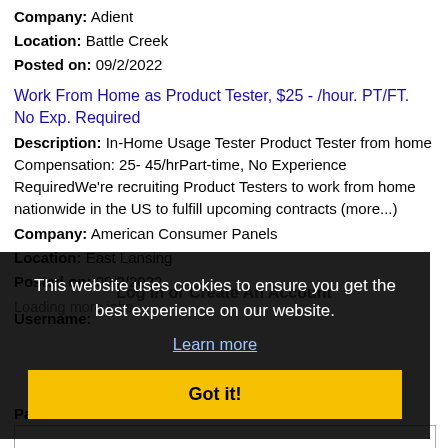Company: Adient
Location: Battle Creek
Posted on: 09/2/2022
Work From Home as Product Tester, $25 - /hour. PT/FT. No Exp. Required
Description: In-Home Usage Tester Product Tester from home Compensation: 25- 45/hrPart-time, No Experience RequiredWe're recruiting Product Testers to work from home nationwide in the US to fulfill upcoming contracts (more...)
Company: American Consumer Panels
Location: East Lansing
Posted on: 09/2/2022
Loading more jobs...
Log In or Create An Account
This website uses cookies to ensure you get the best experience on our website.
Learn more
Got it!
Username:
Password: